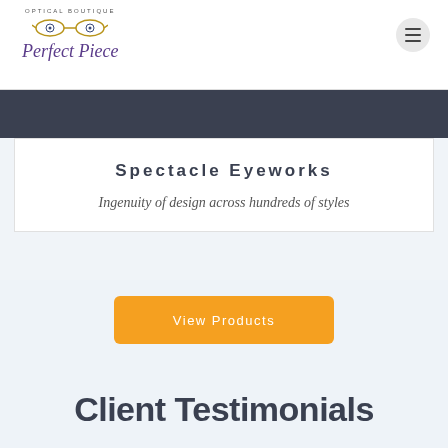Optical Boutique Perfect Piece
Spectacle Eyeworks
Ingenuity of design across hundreds of styles
View Products
Client Testimonials